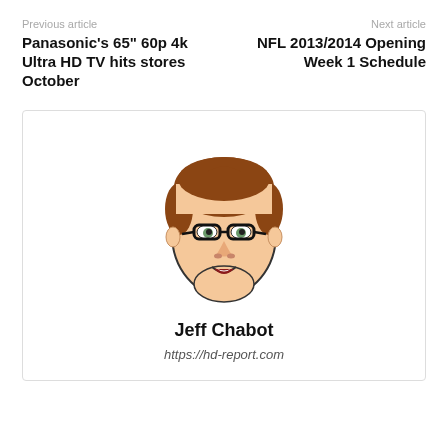Previous article
Panasonic's 65" 60p 4k Ultra HD TV hits stores October
Next article
NFL 2013/2014 Opening Week 1 Schedule
[Figure (illustration): Cartoon avatar illustration of a young man with brown hair and black-rimmed glasses, smiling]
Jeff Chabot
https://hd-report.com